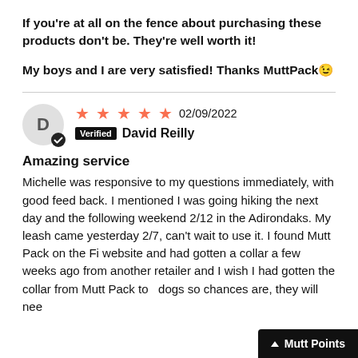If you're at all on the fence about purchasing these products don't be. They're well worth it!
My boys and I are very satisfied! Thanks MuttPack😊
★★★★★ 02/09/2022  Verified  David Reilly
Amazing service
Michelle was responsive to my questions immediately, with good feed back. I mentioned I was going hiking the next day and the following weekend 2/12 in the Adirondaks. My leash came yesterday 2/7, can't wait to use it. I found Mutt Pack on the Fi website and had gotten a collar a few weeks ago from another retailer and I wish I had gotten the collar from Mutt Pack to    dogs so chances are, they will nee